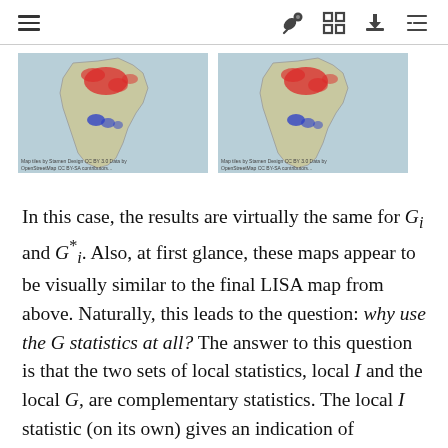≡  🚀  ⛶  ⬇  ≡
[Figure (map): Map of England showing spatial clusters highlighted in red (north) and blue (midlands area), G_i statistic result]
[Figure (map): Map of England showing spatial clusters highlighted in red (north) and blue (midlands area), G_i* statistic result]
In this case, the results are virtually the same for G_i and G_i*. Also, at first glance, these maps appear to be visually similar to the final LISA map from above. Naturally, this leads to the question: why use the G statistics at all? The answer to this question is that the two sets of local statistics, local I and the local G, are complementary statistics. The local I statistic (on its own) gives an indication of cluster/outlier status, and the local G shows which side of the